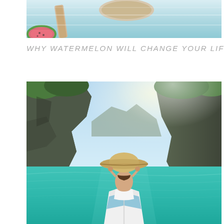[Figure (photo): Top portion of a photo showing a light blue wooden boat with oars and what appears to be watermelon slices on the edge, cropped at top of page]
WHY WATERMELON WILL CHANGE YOUR LIFE
[Figure (photo): Woman seen from behind on the bow of a boat, wearing a white bikini and a large straw sun hat, sailing through a stunning turquoise lagoon surrounded by tall limestone cliffs covered in lush green vegetation, with bright sunlight]